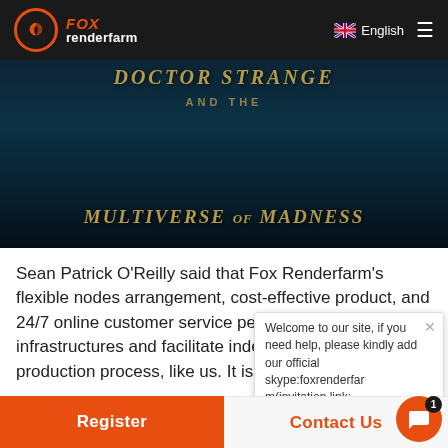[Figure (logo): Fox Renderfarm logo with orange circle and text]
[Figure (photo): Dark teal movie banner with golden stylized text, likely Doctor Strange and the Multiverse of Madness]
Sean Patrick O'Reilly said that Fox Renderfarm's flexible nodes arrangement, cost-effective product, and 24/7 online customer service perfectly complement the infrastructures and facilitate independent studios' production process, like us. It is reported that the film "Panda vs Aliens", directed by Sean Anim Studio founder Sean Patrick O'Reilly and by Stan Lee and Gill Champion, is now in production and is expected to be released in China in 2019. Sean Patrick O'Reilly said hopes to work with more Chinese production companies to provide more high-quality works
Welcome to our site, if you need help, please kindly add our official skype:foxrenderfarm(invitation link:
Register
Contact Us